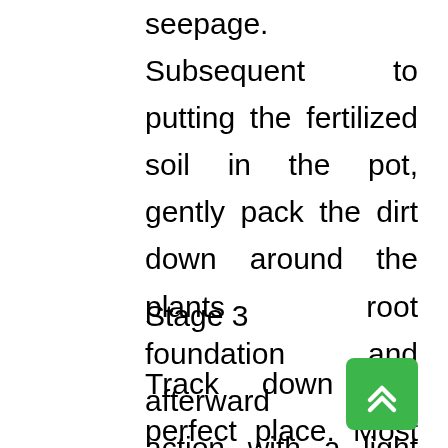seepage. Subsequent to putting the fertilized soil in the pot, gently pack the dirt down around the plants root foundation and afterward take action with a light moistening of microbial inoculants tonic.
Stage 3
Track down the perfect place. Most houseplants expect daylight to make food through photosynthesis. Contingent upon the kind of plant